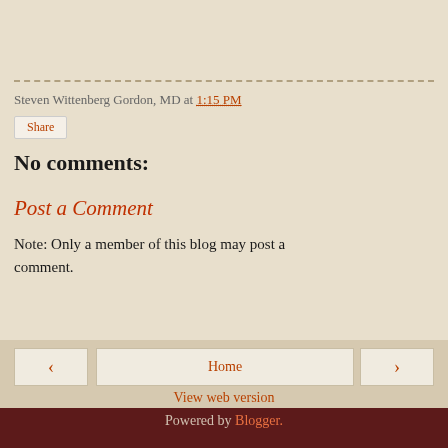Steven Wittenberg Gordon, MD at 1:15 PM
Share
No comments:
Post a Comment
Note: Only a member of this blog may post a comment.
‹
Home
›
View web version
Powered by Blogger.